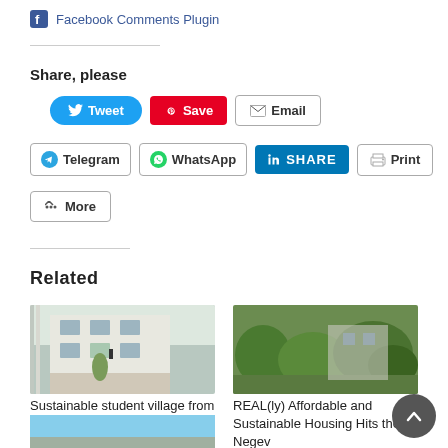Facebook Comments Plugin
Share, please
[Figure (screenshot): Social sharing buttons: Tweet, Save, Email, Telegram, WhatsApp, Share (LinkedIn), Print, More]
Related
[Figure (photo): Building with balconies and plants - sustainable student village from shipping containers]
Sustainable student village from shipping containers!
[Figure (photo): Green garden/overgrown area - REAL(ly) Affordable and Sustainable Housing Hits the Negev]
REAL(ly) Affordable and Sustainable Housing Hits the Negev
[Figure (photo): Bottom partial image showing blue sky]